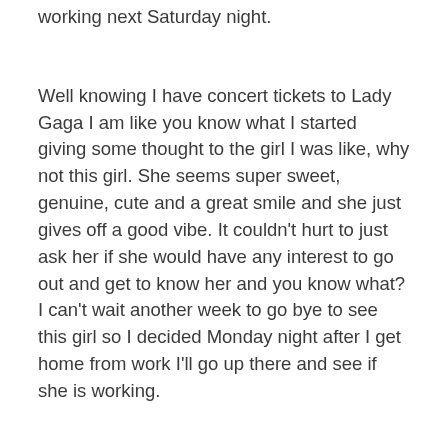working next Saturday night.
Well knowing I have concert tickets to Lady Gaga I am like you know what I started giving some thought to the girl I was like, why not this girl. She seems super sweet, genuine, cute and a great smile and she just gives off a good vibe. It couldn't hurt to just ask her if she would have any interest to go out and get to know her and you know what? I can't wait another week to go bye to see this girl so I decided Monday night after I get home from work I'll go up there and see if she is working.
So I walk up there and the place is mobbed but she is working, awesome…just what I didn't want. I